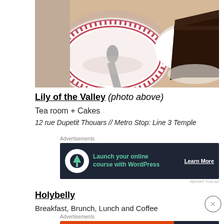[Figure (photo): Top-down photo of a decorative pink floral plate with a spoon, and a slice of dark chocolate cake on a white plate beside it, on a light wooden surface.]
Lily of the Valley (photo above)
Tea room + Cakes
12 rue Dupetit Thouars // Metro Stop: Line 3 Temple
Advertisements
[Figure (infographic): Dark banner advertisement: WordPress tree icon circle, teal text 'Launch your online course with WordPress', white underlined 'Learn More' CTA button.]
REPORT THIS AD
Holybelly
Breakfast, Brunch, Lunch and Coffee
Advertisements
[Figure (infographic): DuckDuckGo advertisement banner. Left orange section: 'Search, browse, and email with more privacy.' with 'All in One Free App' pill button. Right dark section with DuckDuckGo duck logo and brand name.]
REPORT THIS AD